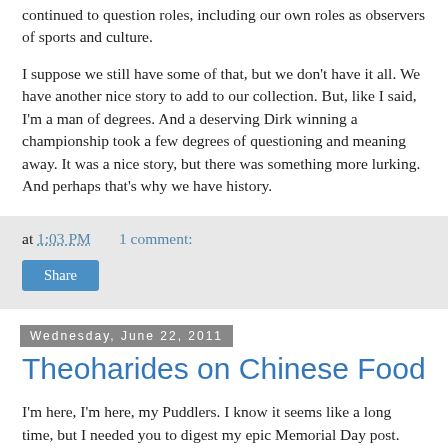continued to question roles, including our own roles as observers of sports and culture.
I suppose we still have some of that, but we don't have it all. We have another nice story to add to our collection. But, like I said, I'm a man of degrees. And a deserving Dirk winning a championship took a few degrees of questioning and meaning away. It was a nice story, but there was something more lurking. And perhaps that's why we have history.
at 1:03 PM   1 comment:
Share
Wednesday, June 22, 2011
Theoharides on Chinese Food
I'm here, I'm here, my Puddlers. I know it seems like a long time, but I needed you to digest my epic Memorial Day post. Also, I took a long weekend for a Bachelor Party for my good friend Jeff. We all went to Fire Island. Needless to say there